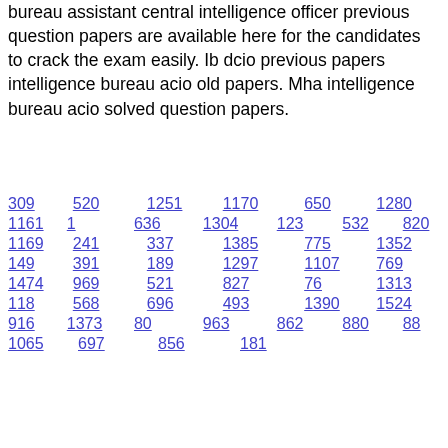bureau assistant central intelligence officer previous question papers are available here for the candidates to crack the exam easily. Ib dcio previous papers intelligence bureau acio old papers. Mha intelligence bureau acio solved question papers.
309 520 1251 1170 650 1280
1161 1 636 1304 123 532 820
1169 241 337 1385 775 1352
149 391 189 1297 1107 769
1474 969 521 827 76 1313
118 568 696 493 1390 1524
916 1373 80 963 862 880 88
1065 697 856 181